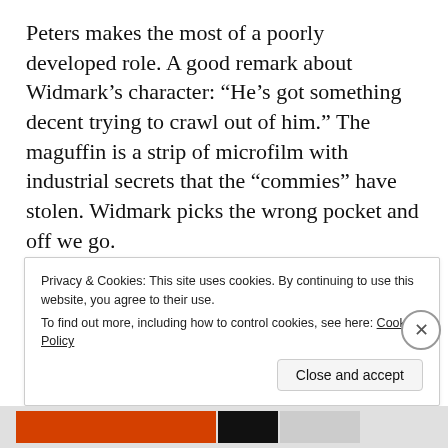Peters makes the most of a poorly developed role. A good remark about Widmark’s character: “He’s got something decent trying to crawl out of him.” The maguffin is a strip of microfilm with industrial secrets that the “commies” have stolen. Widmark picks the wrong pocket and off we go.
Leave a comment
Privacy & Cookies: This site uses cookies. By continuing to use this website, you agree to their use.
To find out more, including how to control cookies, see here: Cookie Policy
Close and accept